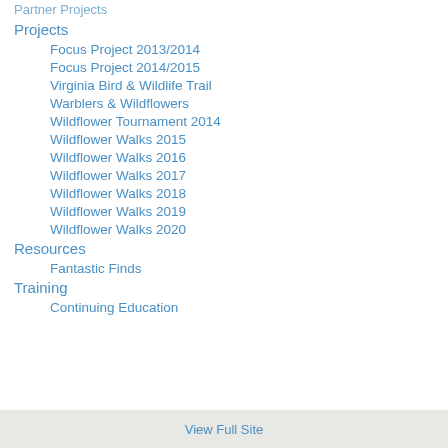Partner Projects
Projects
Focus Project 2013/2014
Focus Project 2014/2015
Virginia Bird & Wildlife Trail
Warblers & Wildflowers
Wildflower Tournament 2014
Wildflower Walks 2015
Wildflower Walks 2016
Wildflower Walks 2017
Wildflower Walks 2018
Wildflower Walks 2019
Wildflower Walks 2020
Resources
Fantastic Finds
Training
Continuing Education
View Full Site